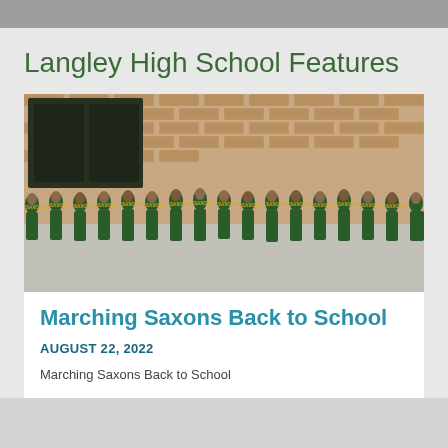Langley High School Features
[Figure (photo): Group photo of Langley High School Marching Saxons girls in green uniforms with 'SAXONS' text, posing in a line in front of a brick wall.]
Marching Saxons Back to School
AUGUST 22, 2022
Marching Saxons Back to School